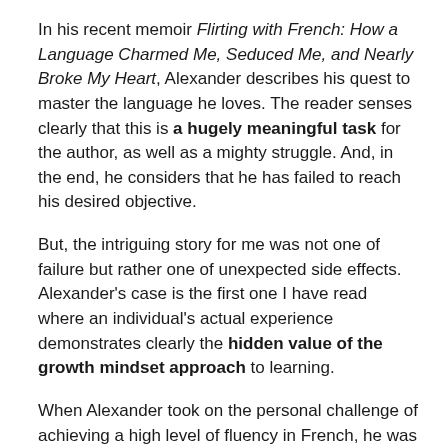In his recent memoir Flirting with French: How a Language Charmed Me, Seduced Me, and Nearly Broke My Heart, Alexander describes his quest to master the language he loves. The reader senses clearly that this is a hugely meaningful task for the author, as well as a mighty struggle. And, in the end, he considers that he has failed to reach his desired objective.
But, the intriguing story for me was not one of failure but rather one of unexpected side effects. Alexander's case is the first one I have read where an individual's actual experience demonstrates clearly the hidden value of the growth mindset approach to learning.
When Alexander took on the personal challenge of achieving a high level of fluency in French, he was interested in measuring the effect, if any, of his heavy program of study on his brain. So, he sought to evaluate it with two tests. The first was a computerized cognitive-assessment evaluation recommended by a colleague. In addition, he thought it would be interesting to do a